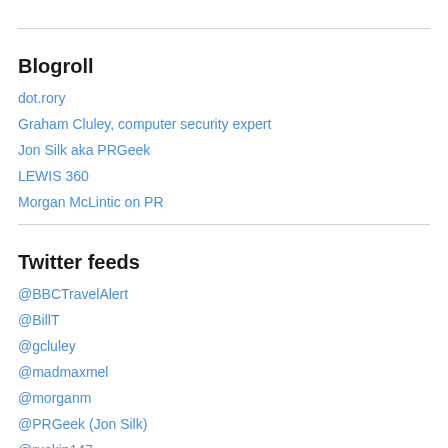Blogroll
dot.rory
Graham Cluley, computer security expert
Jon Silk aka PRGeek
LEWIS 360
Morgan McLintic on PR
Twitter feeds
@BBCTravelAlert
@BillT
@gcluley
@madmaxmel
@morganm
@PRGeek (Jon Silk)
@ruskin147